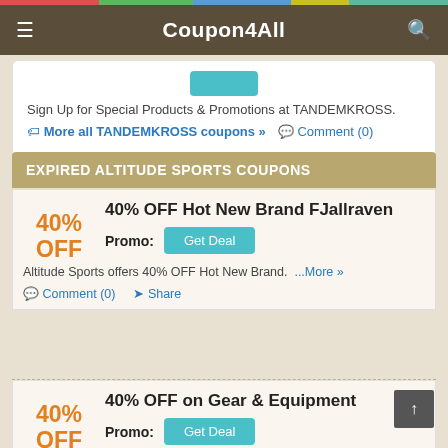Coupon4All
Sign Up for Special Products & Promotions at TANDEMKROSS.
More all TANDEMKROSS coupons »  Comment (0)  Share
EXPIRED ALTITUDE SPORTS COUPONS
40% OFF Hot New Brand FJallraven
Promo: Get Deal
Altitude Sports offers 40% OFF Hot New Brand. ...More »
Comment (0)  Share
40% OFF on Gear & Equipment
Promo: Get Deal
Get 40% OFF on Gear & Equipment Altitude Sports.
Comment (0)  Share